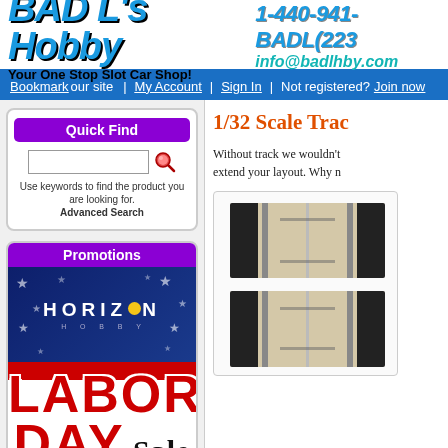BAD L's Hobby  1-440-941-BADL(223...  Your One Stop Slot Car Shop!  info@badlhby.com
Bookmark our site  |  My Account  |  Sign In  |  Not registered? Join now
Quick Find
Use keywords to find the product you are looking for. Advanced Search
Promotions
[Figure (illustration): Horizon Hobby Labor Day Sale banner with red white and blue American flag theme, large text reading LABOR DAY Sale]
1/32 Scale Trac...
Without track we wouldn't... extend your layout. Why n...
[Figure (photo): Two slot car track sections shown as product images - straight black track pieces]